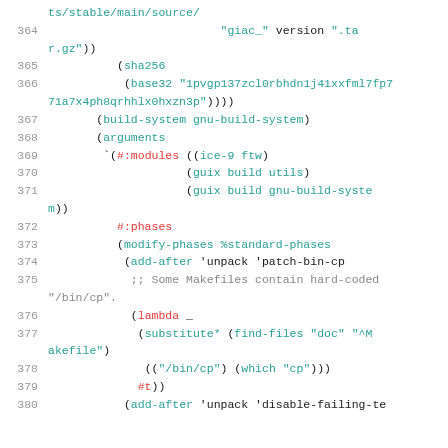Code listing lines 364-380, Guix package definition source code snippet